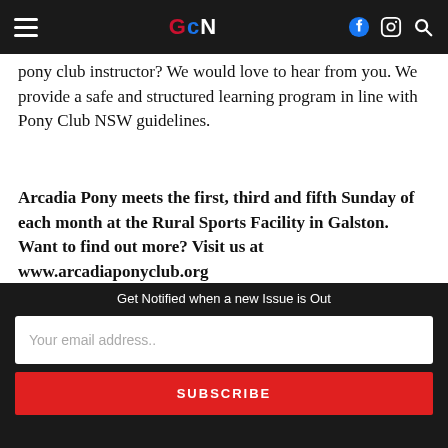GCN navigation bar with hamburger menu, logo, and social icons
pony club instructor? We would love to hear from you. We provide a safe and structured learning program in line with Pony Club NSW guidelines.
Arcadia Pony meets the first, third and fifth Sunday of each month at the Rural Sports Facility in Galston. Want to find out more? Visit us at www.arcadiaponyclub.org
[Figure (other): MASTERCLASS advertisement banner with house icon]
Get Notified when a new Issue is Out
Your email address..
SUBSCRIBE